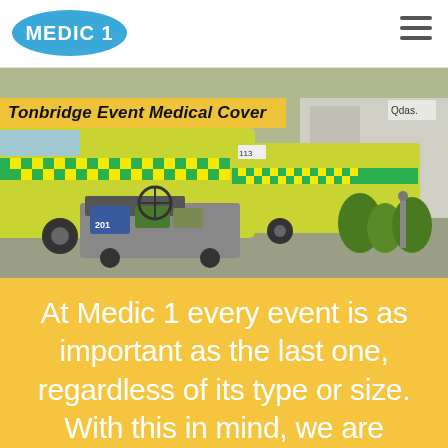[Figure (logo): Medic 1 logo — white text on blue oval background]
[Figure (photo): Ambulances and medical equipment vehicles parked outside a building, with green and yellow NHS livery]
Tonbridge Event Medical Cover
At Medic 1 every event is as important as the last one, regardless of its type or size. With this in mind, we are committed to providing excellent and